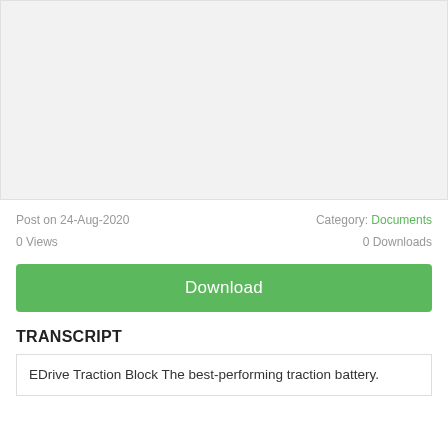[Figure (other): Gray placeholder image area for a document preview thumbnail]
Post on 24-Aug-2020
Category: Documents
0 Views
0 Downloads
Download
TRANSCRIPT
EDrive Traction Block The best-performing traction battery.